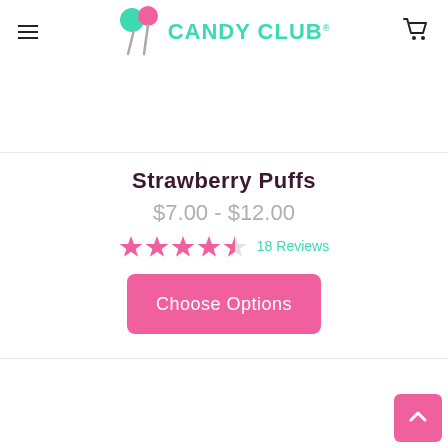CANDY CLUB
[Figure (other): Product image placeholder (top) - empty white box with border]
Strawberry Puffs
$7.00 - $12.00
4.5 stars — 18 Reviews
Choose Options
[Figure (other): Product image placeholder (bottom) - empty white box with border]